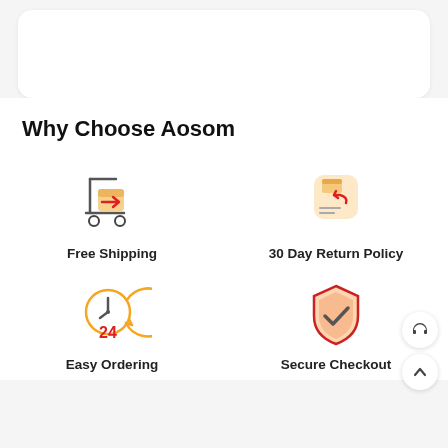Why Choose Aosom
[Figure (illustration): Free Shipping icon: delivery cart with a box and red arrow]
Free Shipping
[Figure (illustration): 30 Day Return Policy icon: box inside orange rounded square with red return arrow and lines]
30 Day Return Policy
[Figure (illustration): Easy Ordering icon: clock face with 24 label in red and circular arrow]
Easy Ordering
[Figure (illustration): Secure Checkout icon: red shield with orange fill and checkmark]
Secure Checkout